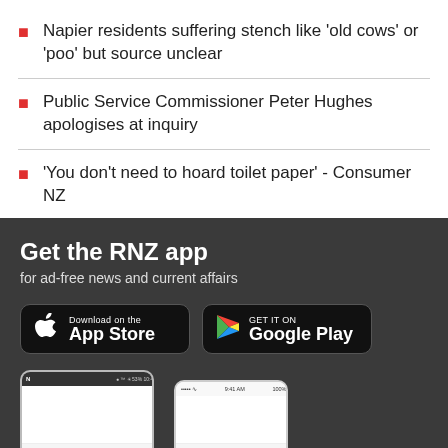Napier residents suffering stench like 'old cows' or 'poo' but source unclear
Public Service Commissioner Peter Hughes apologises at inquiry
'You don't need to hoard toilet paper' - Consumer NZ
[Figure (screenshot): RNZ app promotion banner with dark background showing 'Get the RNZ app for ad-free news and current affairs' with App Store and Google Play download badges, and partial phone screenshots at the bottom]